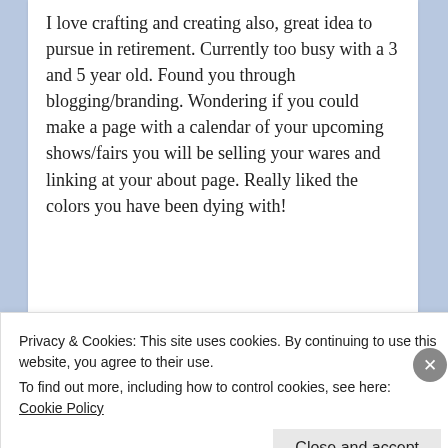I love crafting and creating also, great idea to pursue in retirement. Currently too busy with a 3 and 5 year old. Found you through blogging/branding. Wondering if you could make a page with a calendar of your upcoming shows/fairs you will be selling your wares and linking at your about page. Really liked the colors you have been dying with!
★ Liked by 1 person
Privacy & Cookies: This site uses cookies. By continuing to use this website, you agree to their use.
To find out more, including how to control cookies, see here: Cookie Policy
Close and accept